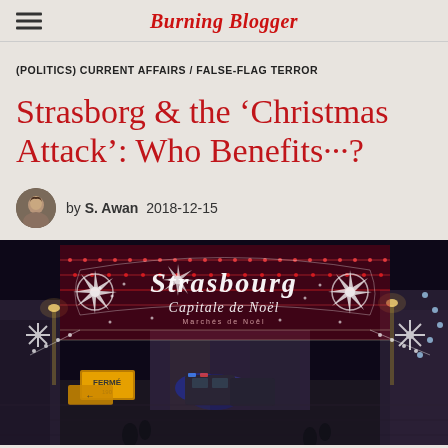Burning Blogger
(POLITICS) CURRENT AFFAIRS / FALSE-FLAG TERROR
Strasborg & the ‘Christmas Attack’: Who Benefits···?
by S. Awan  2018-12-15
[Figure (photo): Night street scene of Strasbourg Christmas market decorated with festive lights including a large illuminated sign reading 'Strasbourg Capitale de Noel', police vehicles visible in the background on the dark street]